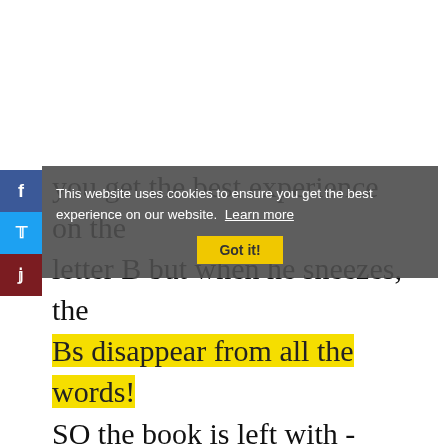[Figure (screenshot): Social media share buttons sidebar on left: Facebook (blue), Twitter (cyan/blue), Pinterest (dark red)]
you get the best experience on the letter B but when he sneezes, the Bs disappear from all the words! SO the book is left with -utterfly and other words missing the letter
[Figure (screenshot): Cookie consent banner overlay: 'This website uses cookies to ensure you get the best experience on our website. Learn more' with a 'Got it!' button]